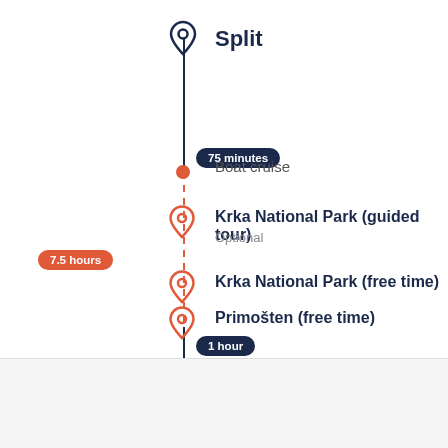[Figure (flowchart): Vertical itinerary timeline showing stops: Split (dark pin, start), 75 minutes badge, Boat cruise (orange dot), Krka National Park guided tour (orange pin, 7.5 hours badge on left), Krka National Park free time (orange pin), Primošten free time (orange pin), 1 hour badge at bottom. Dark vertical line at start and end, orange dashed line in the middle.]
GetYourGuide uses cookies to give you the best possible service. If you continue browsing, you agree to the use of cookies. More details can be found in our privacy policy.